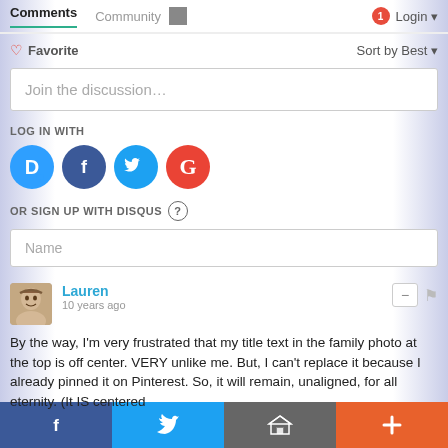Comments  Community  Login
♡ Favorite    Sort by Best
Join the discussion…
LOG IN WITH
[Figure (illustration): Four social login icons: Disqus (blue circle with D), Facebook (dark blue circle with f), Twitter (light blue circle with bird), Google (red circle with G)]
OR SIGN UP WITH DISQUS ?
Name
Lauren
10 years ago
By the way, I'm very frustrated that my title text in the family photo at the top is off center. VERY unlike me. But, I can't replace it because I already pinned it on Pinterest. So, it will remain, unaligned, for all eternity. (It IS centered
[Figure (illustration): Bottom share bar with four buttons: Facebook (blue), Twitter (light blue), Email/house icon (grey), Plus (orange-red)]